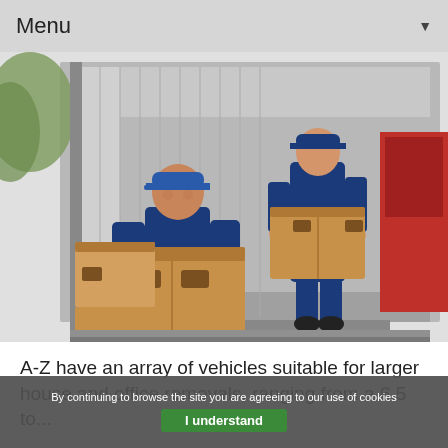Menu ▼
[Figure (photo): Two men in blue uniforms carrying cardboard boxes out of the back of a large white moving van/truck.]
A-Z have an array of vehicles suitable for larger house and office removals, ranging from a 6.5 to...
By continuing to browse the site you are agreeing to our use of cookies
I understand